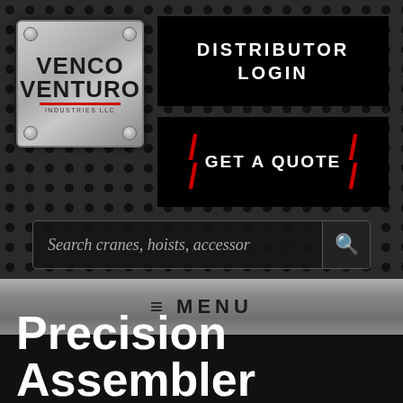[Figure (logo): Venco Venturo Industries LLC logo on metallic brushed steel plate with corner screws and red accent bar]
DISTRIBUTOR LOGIN
GET A QUOTE
Search cranes, hoists, accessor
≡ MENU
Precision Assembler